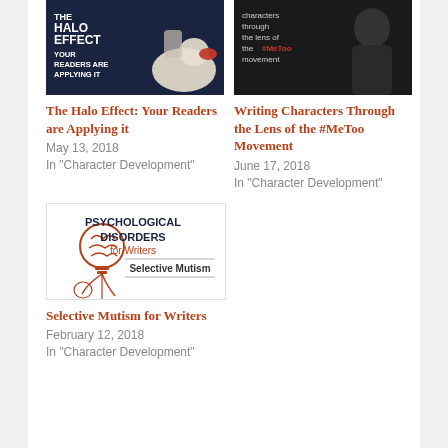[Figure (illustration): The Halo Effect book cover thumbnail with dark background and rubber duck]
[Figure (photo): Writing Characters Through the Lens of the #MeToo Movement thumbnail with dark background and woman silhouette]
The Halo Effect: Your Readers are Applying it
May 13, 2018
In "Character Development"
Writing Characters Through the Lens of the #MeToo Movement
June 17, 2018
In "Character Development"
[Figure (illustration): Psychological Disorders for Writers: Selective Mutism logo with light bulb brain illustration]
Selective Mutism for Writers
February 12, 2018
In "Character Development"